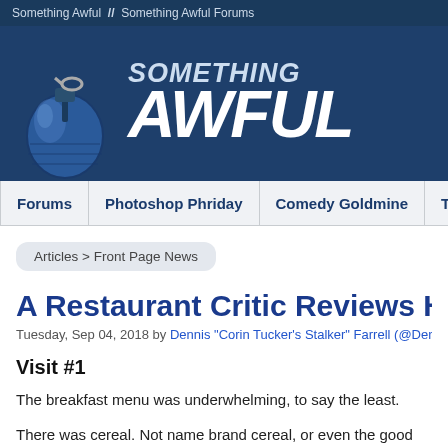Something Awful  //  Something Awful Forums
[Figure (logo): Something Awful website header with grenade illustration and bold italic SOMETHING AWFUL logo text on dark blue background]
Forums | Photoshop Phriday | Comedy Goldmine | The Flash Tub | WTF, D...
Articles > Front Page News
A Restaurant Critic Reviews His Own...
Tuesday, Sep 04, 2018 by Dennis "Corin Tucker's Stalker" Farrell (@DennisF...
Visit #1
The breakfast menu was underwhelming, to say the least.
There was cereal. Not name brand cereal, or even the good off-bra... something called "Open Yogurt Cup Loosely Covered By Ripped T...